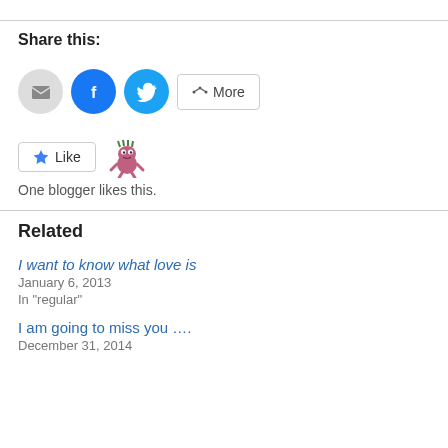Share this:
[Figure (infographic): Social share buttons: email (grey circle), Facebook (blue circle with f logo), Twitter (light blue circle with bird logo), and a More button with share icon]
[Figure (infographic): Like button with star icon and a monster avatar. Text below: One blogger likes this.]
Related
I want to know what love is
January 6, 2013
In "regular"
I am going to miss you ….
December 31, 2014